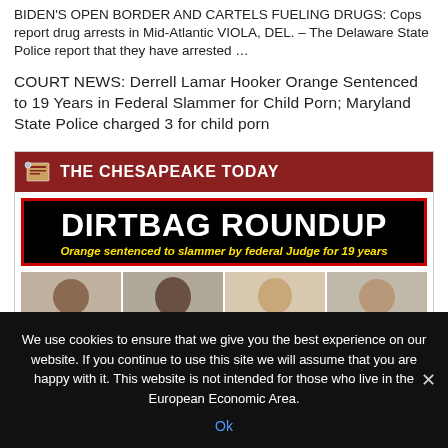BIDEN'S OPEN BORDER AND CARTELS FUELING DRUGS: Cops report drug arrests in Mid-Atlantic VIOLA, DEL. – The Delaware State Police report that they have arrested …
COURT NEWS: Derrell Lamar Hooker Orange Sentenced to 19 Years in Federal Slammer for Child Porn; Maryland State Police charged 3 for child porn
[Figure (screenshot): The Chesapeake Today newspaper header with dark red background and white bold title text, followed by a black box with red border reading DIRTBAG ROUNDUP in large white bold letters and subtitle in yellow italic: Orange sentenced to slammer by federal Judge for 19 years, and below that a row of four mugshot photos.]
We use cookies to ensure that we give you the best experience on our website. If you continue to use this site we will assume that you are happy with it. This website is not intended for those who live in the European Economic Area.
Ok